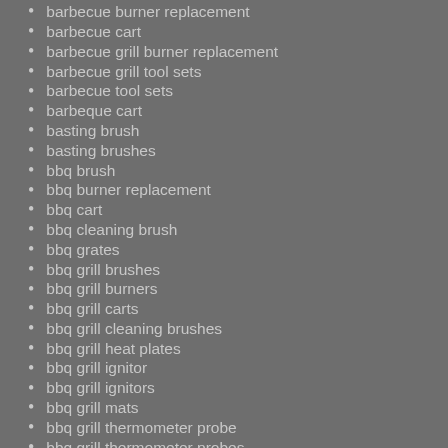barbecue burner replacement
barbecue cart
barbecue grill burner replacement
barbecue grill tool sets
barbecue tool sets
barbeque cart
basting brush
basting brushes
bbq brush
bbq burner replacement
bbq cart
bbq cleaning brush
bbq grates
bbq grill brushes
bbq grill burners
bbq grill carts
bbq grill cleaning brushes
bbq grill heat plates
bbq grill ignitor
bbq grill ignitors
bbq grill mats
bbq grill thermometer probe
bbq grill thermometer probes